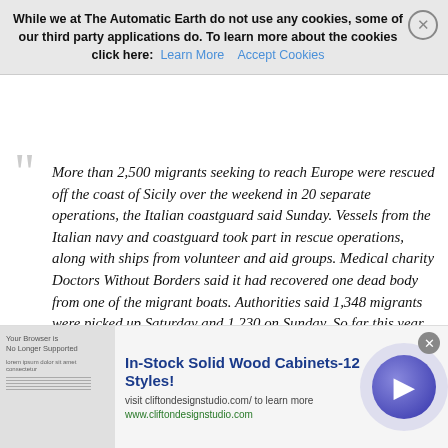While you were looking the other way...
• Over 2,500 Migrants Rescued Off Italy Over Weekend (RFP)
While we at The Automatic Earth do not use any cookies, some of our third party applications do. To learn more about the cookies click here: Learn More   Accept Cookies
More than 2,500 migrants seeking to reach Europe were rescued off the coast of Sicily over the weekend in 20 separate operations, the Italian coastguard said Sunday. Vessels from the Italian navy and coastguard took part in rescue operations, along with ships from volunteer and aid groups. Medical charity Doctors Without Borders said it had recovered one dead body from one of the migrant boats. Authorities said 1,348 migrants were picked up Saturday and 1,230 on Sunday. So far this year more than 48,000 people have been brought to the Italian coast after being pulled from boats trying to cross from Libya, according to the UN refugee agency. With the return of the good weather the rescue operations are expected to increase. For the time being the numbers arriving are similar to those seen last year and in 2014.
In-Stock Solid Wood Cabinets-12 Styles! visit cliftondesignstudio.com/ to learn more www.cliftondesignstudio.com